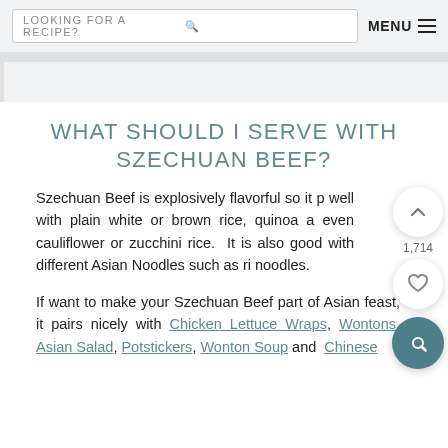LOOKING FOR A RECIPE?  MENU
WHAT SHOULD I SERVE WITH SZECHUAN BEEF?
Szechuan Beef is explosively flavorful so it pairs well with plain white or brown rice, quinoa and even cauliflower or zucchini rice.  It is also good with different Asian Noodles such as rice noodles.
If want to make your Szechuan Beef part of an Asian feast, it pairs nicely with Chicken Lettuce Wraps, Wontons, Asian Salad, Potstickers, Wonton Soup and Chinese